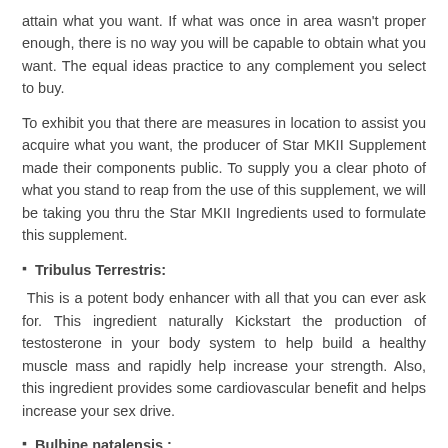attain what you want. If what was once in area wasn't proper enough, there is no way you will be capable to obtain what you want. The equal ideas practice to any complement you select to buy.
To exhibit you that there are measures in location to assist you acquire what you want, the producer of Star MKII Supplement made their components public. To supply you a clear photo of what you stand to reap from the use of this supplement, we will be taking you thru the Star MKII Ingredients used to formulate this supplement.
Tribulus Terrestris:
This is a potent body enhancer with all that you can ever ask for. This ingredient naturally Kickstart the production of testosterone in your body system to help build a healthy muscle mass and rapidly help increase your strength. Also, this ingredient provides some cardiovascular benefit and helps increase your sex drive.
Bulbine natalensis :
What we have right here is additionally a effective testosterone